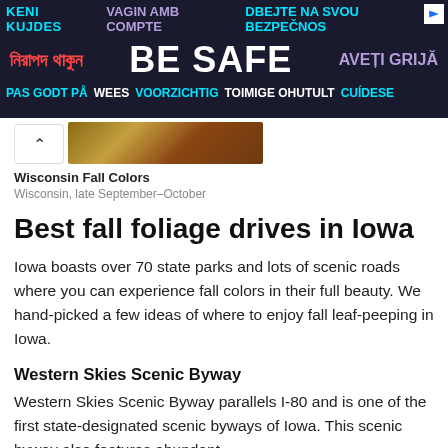[Figure (infographic): Multilingual safety advertisement banner with dark navy background. Row 1: 'KENI KUJDES' (cyan), 'VAGIN AMB COMPTE' (purple), 'DBEJTE NA SVOU BEZPECNOS' (cyan/white). Row 2: Bengali text in red on left, 'BE SAFE' in large white bold text center, 'AVETI GRIJA' in purple right. Row 3: 'PAS GODT PA' (cyan), 'WEES VOORZICHTIG' (white/cyan), 'TOIMIGE OHUTULT' (white/purple), 'CUIDESE' (cyan).]
Wisconsin Fall Colors
Wisconsin, late September–October
Best fall foliage drives in Iowa
Iowa boasts over 70 state parks and lots of scenic roads where you can experience fall colors in their full beauty. We hand-picked a few ideas of where to enjoy fall leaf-peeping in Iowa.
Western Skies Scenic Byway
Western Skies Scenic Byway parallels I-80 and is one of the first state-designated scenic byways of Iowa. This scenic byway also features abundant...